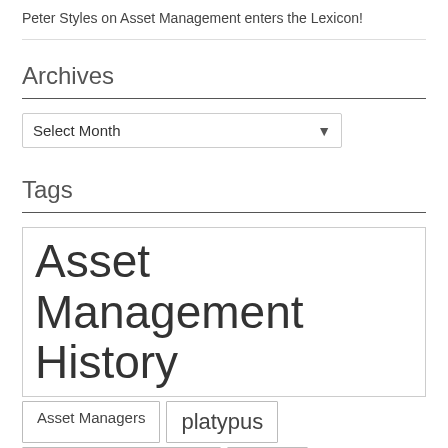Peter Styles on Asset Management enters the Lexicon!
Archives
[Figure (screenshot): Dropdown select box showing 'Select Month' with a downward arrow]
Tags
Asset Management History
Asset Managers
platypus
Understanding the waves
Wave 4